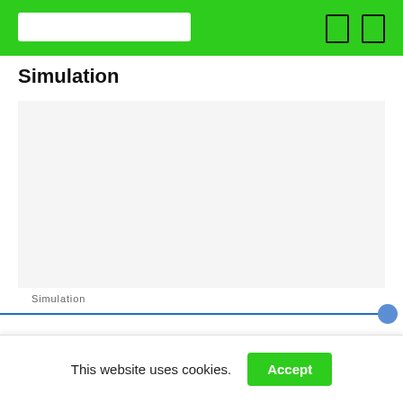[Green navigation bar with search box and icons]
Simulation
[Figure (other): A light gray rectangular simulation placeholder area]
Simulation
This website uses cookies.  Accept